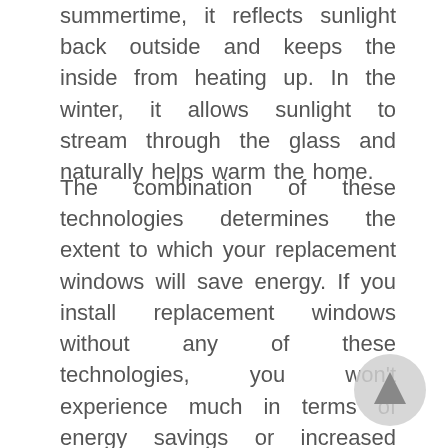summertime, it reflects sunlight back outside and keeps the inside from heating up. In the winter, it allows sunlight to stream through the glass and naturally helps warm the home.
The combination of these technologies determines the extent to which your replacement windows will save energy. If you install replacement windows without any of these technologies, you won't experience much in terms of energy savings or increased indoor comfort. For example, UniShield® Supreme is one of the most energy-efficient replacement windows on the market. It is engineered with triple pane glass, krypton gas, and two coats of low-E...